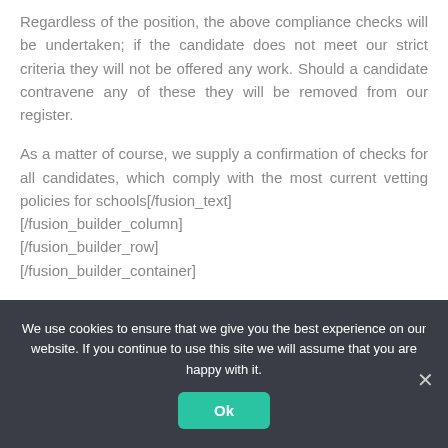Regardless of the position, the above compliance checks will be undertaken; if the candidate does not meet our strict criteria they will not be offered any work. Should a candidate contravene any of these they will be removed from our register.
As a matter of course, we supply a confirmation of checks for all candidates, which comply with the most current vetting policies for schools[/fusion_text] [/fusion_builder_column] [/fusion_builder_row] [/fusion_builder_container]
We use cookies to ensure that we give you the best experience on our website. If you continue to use this site we will assume that you are happy with it.